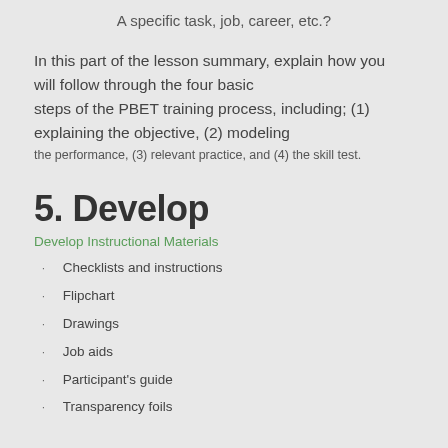A specific task, job, career, etc.?
In this part of the lesson summary, explain how you will follow through the four basic steps of the PBET training process, including; (1) explaining the objective, (2) modeling the performance, (3) relevant practice, and (4) the skill test.
5. Develop
Develop Instructional Materials
Checklists and instructions
Flipchart
Drawings
Job aids
Participant's guide
Transparency foils